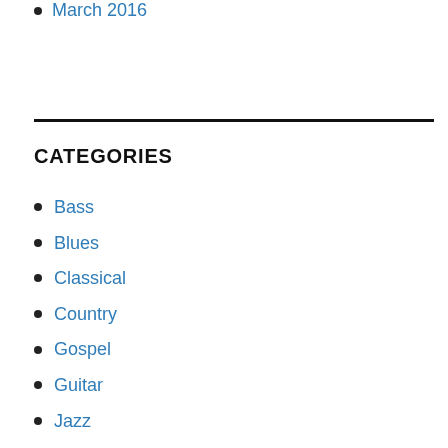March 2016
CATEGORIES
Bass
Blues
Classical
Country
Gospel
Guitar
Jazz
Music Genre
Piano